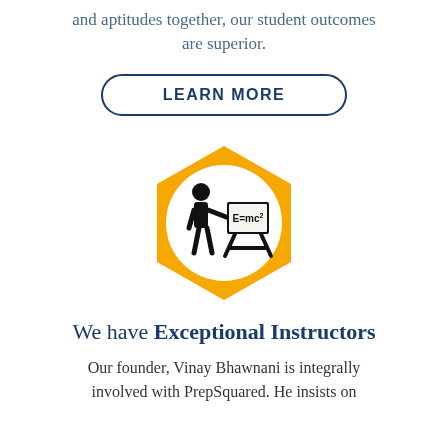and aptitudes together, our student outcomes are superior.
LEARN MORE
[Figure (illustration): Gold hexagon shape containing a white circle with a black silhouette of a teacher/instructor standing next to a chalkboard/easel displaying E=mc²]
We have Exceptional Instructors
Our founder, Vinay Bhawnani is integrally involved with PrepSquared. He insists on